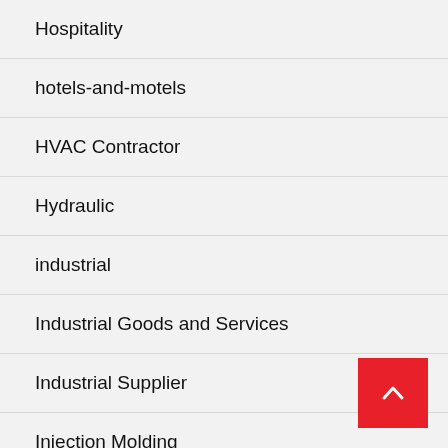Hospitality
hotels-and-motels
HVAC Contractor
Hydraulic
industrial
Industrial Goods and Services
Industrial Supplier
Injection Molding
Injury Lawyer